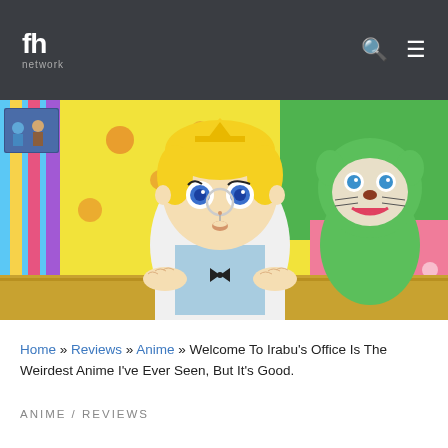fh network
[Figure (screenshot): Anime screenshot showing a cartoon character with blonde hair, blue eyes, wearing a white coat and monocle, leaning on a desk. A green animal mascot character is visible to the right. Colorful background with polka dots and stripes. Small inset image in top left showing two characters.]
Home » Reviews » Anime » Welcome To Irabu's Office Is The Weirdest Anime I've Ever Seen, But It's Good.
ANIME / REVIEWS
Welcome To Irabu's Office Is The Weirdest...